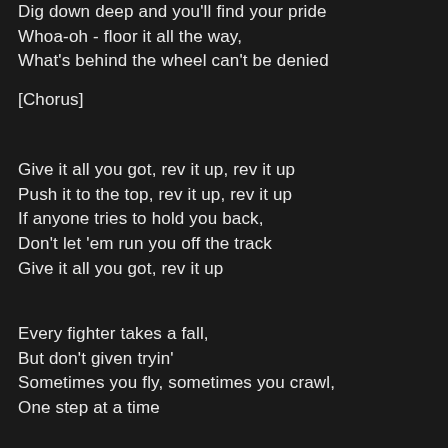Dig down deep and you'll find your pride
Whoa-oh - floor it all the way,
What's behind the wheel can't be denied
[Chorus]
Give it all you got, rev it up, rev it up
Push it to the top, rev it up, rev it up
If anyone tries to hold you back,
Don't let 'em run you off the track
Give it all you got, rev it up
Every fighter takes a fall,
But don't given tryin'
Sometimes you fly, sometimes you crawl,
One step at a time